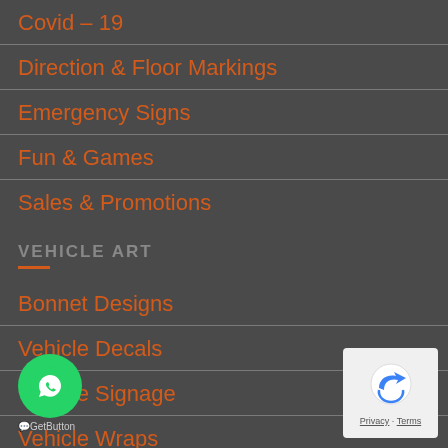Covid – 19
Direction & Floor Markings
Emergency Signs
Fun & Games
Sales & Promotions
VEHICLE ART
Bonnet Designs
Vehicle Decals
Vehicle Signage
Vehicle Wraps
[Figure (logo): WhatsApp GetButton chat widget with green circular icon]
[Figure (logo): Privacy & Terms badge with blue arrow icon]